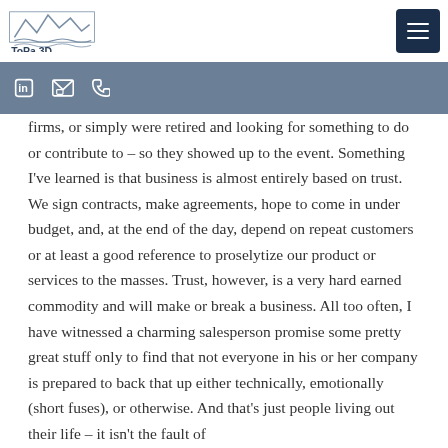[Figure (logo): ToPa 3D logo with mountain/wave graphic and text 'ToPa 3D']
[Figure (infographic): Navigation bar with LinkedIn icon, mail icon, phone icon, and 'WORK WITH US' button]
that platform to do with what the industry, it remains impressive for the AEC world. Some of them sold great coaches or networking engines, owned firms, or simply were retired and looking for something to do or contribute to – so they showed up to the event. Something I've learned is that business is almost entirely based on trust. We sign contracts, make agreements, hope to come in under budget, and, at the end of the day, depend on repeat customers or at least a good reference to proselytize our product or services to the masses. Trust, however, is a very hard earned commodity and will make or break a business. All too often, I have witnessed a charming salesperson promise some pretty great stuff only to find that not everyone in his or her company is prepared to back that up either technically, emotionally (short fuses), or otherwise. And that's just people living out their life – it isn't the fault of